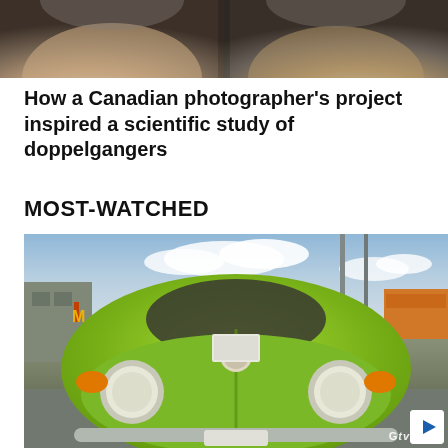[Figure (photo): Black and white photograph showing two men's faces/heads side by side, cropped at the top of the page — a doppelganger/lookalike photo]
How a Canadian photographer's project inspired a scientific study of doppelgangers
MOST-WATCHED
[Figure (photo): Photo of a green Volkswagen Beetle car shot from the front, parked in a commercial area with a McDonald's visible in the background; a play button overlay is visible in the bottom-right corner with a 'GTV' watermark]